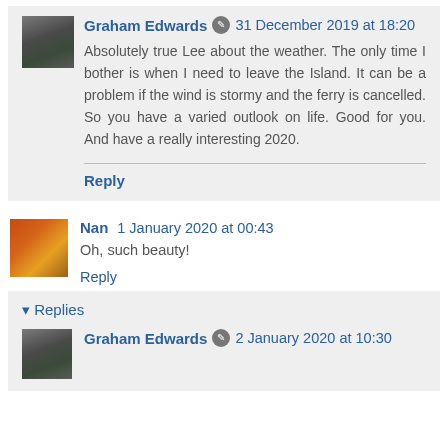Graham Edwards • 31 December 2019 at 18:20
Absolutely true Lee about the weather. The only time I bother is when I need to leave the Island. It can be a problem if the wind is stormy and the ferry is cancelled. So you have a varied outlook on life. Good for you. And have a really interesting 2020.
Reply
Nan 1 January 2020 at 00:43
Oh, such beauty!
Reply
Replies
Graham Edwards • 2 January 2020 at 10:30